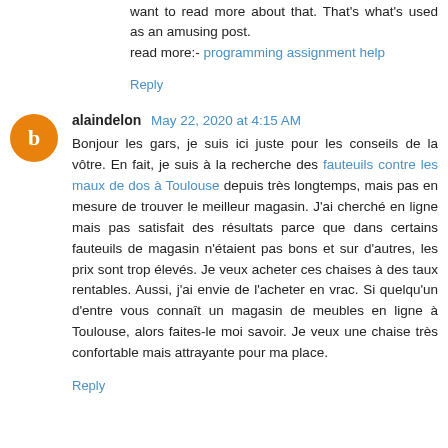want to read more about that. That's what's used as an amusing post.
read more:- programming assignment help
Reply
alaindelon May 22, 2020 at 4:15 AM
Bonjour les gars, je suis ici juste pour les conseils de la vôtre. En fait, je suis à la recherche des fauteuils contre les maux de dos à Toulouse depuis très longtemps, mais pas en mesure de trouver le meilleur magasin. J'ai cherché en ligne mais pas satisfait des résultats parce que dans certains fauteuils de magasin n'étaient pas bons et sur d'autres, les prix sont trop élevés. Je veux acheter ces chaises à des taux rentables. Aussi, j'ai envie de l'acheter en vrac. Si quelqu'un d'entre vous connaît un magasin de meubles en ligne à Toulouse, alors faites-le moi savoir. Je veux une chaise très confortable mais attrayante pour ma place.
Reply